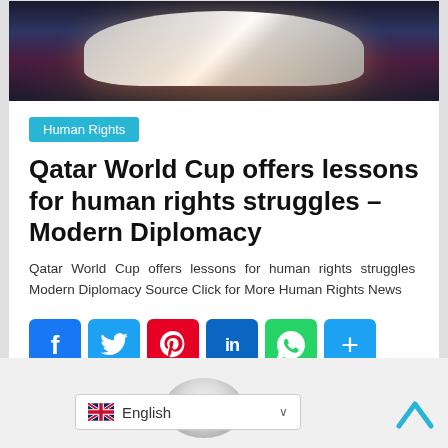[Figure (photo): Aerial night view of a modern stadium with white roof structure illuminated against dark background]
Human Rights
Qatar World Cup offers lessons for human rights struggles – Modern Diplomacy
Qatar World Cup offers lessons for human rights struggles  Modern Diplomacy Source Click for More Human Rights News
[Figure (infographic): Social media sharing icons: Facebook, Twitter, Pinterest, LinkedIn, WhatsApp, More]
Read more
[Figure (photo): Partial view of a white ring/torus object at bottom of page]
English